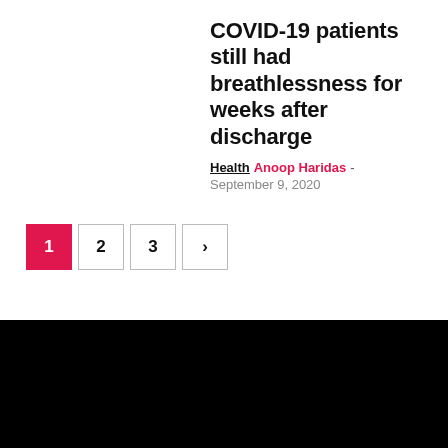COVID-19 patients still had breathlessness for weeks after discharge
Health  Anoop Haridas - September 9, 2020
[Figure (other): Pagination control showing page buttons: active page 1 (pink/red background), pages 2, 3, and a next arrow button]